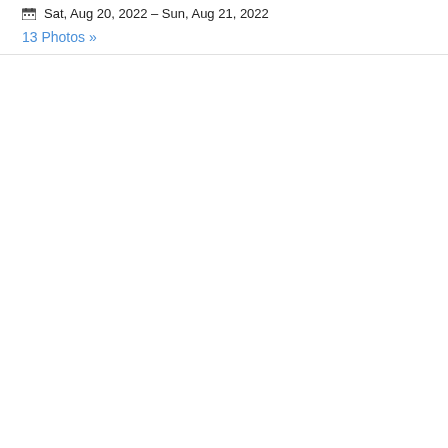Sat, Aug 20, 2022 – Sun, Aug 21, 2022
13 Photos »